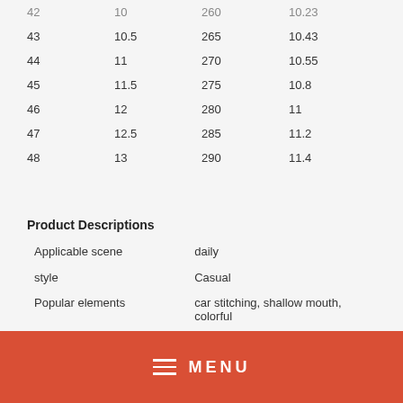| EU Size | US Size | Length (mm) | Foot Width (in) |
| --- | --- | --- | --- |
| 42 | 10 | 260 | 10.23 |
| 43 | 10.5 | 265 | 10.43 |
| 44 | 11 | 270 | 10.55 |
| 45 | 11.5 | 275 | 10.8 |
| 46 | 12 | 280 | 11 |
| 47 | 12.5 | 285 | 11.2 |
| 48 | 13 | 290 | 11.4 |
Product Descriptions
| Attribute | Value |
| --- | --- |
| Applicable scene | daily |
| style | Casual |
| Popular elements | car stitching, shallow mouth, colorful |
[Figure (other): Red navigation menu bar with hamburger icon and MENU text in white]